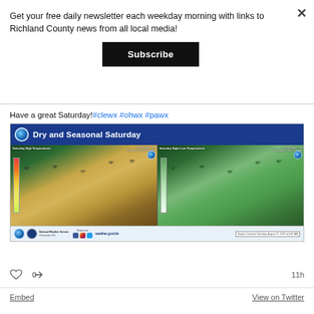Get your free daily newsletter each weekday morning with links to Richland County news from all local media!
Subscribe
Have a great Saturday!#clewx #ohwx #pawx
[Figure (map): NWS weather graphic titled 'Dry and Seasonal Saturday' showing two maps of northeast Ohio area: Saturday High Temperatures (yellows/warm colors) and Saturday Night Low Temperatures (green colors), with NWS Cleveland OH branding and footer showing weather.gov/cle, created Saturday August 27 2022 at 6:02 AM]
11h
Embed
View on Twitter